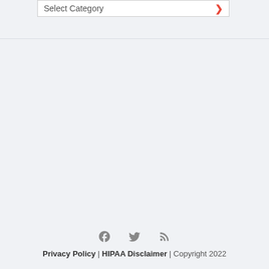[Figure (screenshot): Dropdown select box labeled 'Select Category' with a red chevron/arrow icon on the right side]
f [facebook icon] [twitter icon] [rss icon] | Privacy Policy | HIPAA Disclaimer | Copyright 2022